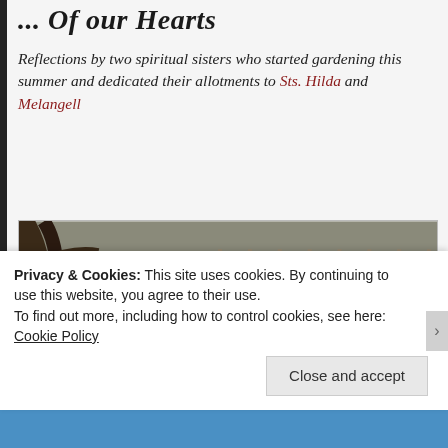... Of our Hearts
Reflections by two spiritual sisters who started gardening this summer and dedicated their allotments to Sts. Hilda and Melangell
[Figure (photo): A garden allotment in winter/early spring showing dark soil, patches of green grass, bare tree branches on the left, a wooden fence in the background, and snowdrop flowers in the foreground.]
Privacy & Cookies: This site uses cookies. By continuing to use this website, you agree to their use.
To find out more, including how to control cookies, see here:
Cookie Policy
Close and accept